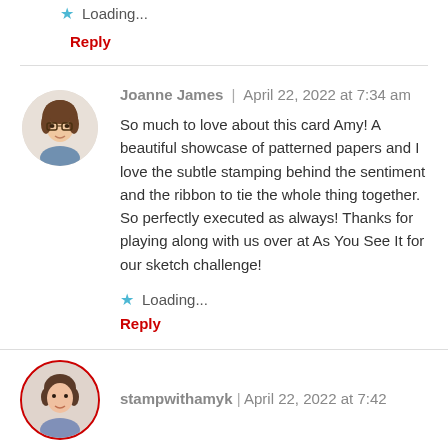Loading...
Reply
Joanne James | April 22, 2022 at 7:34 am
So much to love about this card Amy! A beautiful showcase of patterned papers and I love the subtle stamping behind the sentiment and the ribbon to tie the whole thing together. So perfectly executed as always! Thanks for playing along with us over at As You See It for our sketch challenge!
Loading...
Reply
stampwithamyk | April 22, 2022 at 7:42